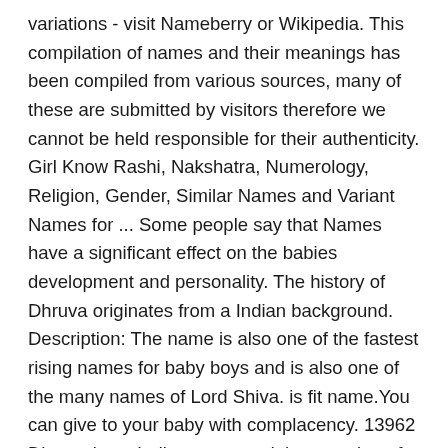variations - visit Nameberry or Wikipedia. This compilation of names and their meanings has been compiled from various sources, many of these are submitted by visitors therefore we cannot be held responsible for their authenticity. Girl Know Rashi, Nakshatra, Numerology, Religion, Gender, Similar Names and Variant Names for ... Some people say that Names have a significant effect on the babies development and personality. The history of Dhruva originates from a Indian background. Description: The name is also one of the fastest rising names for baby boys and is also one of the many names of Lord Shiva. is fit name.You can give to your baby with complacency. 13962 Dhruva is an Indian name and the meaning of Dhruva is Son Of Uttanapad - Hindunames.net Find accurate name meanings along with origin, gender, rating, and much more about the name Dhruva Meaning of Dhruva. ... Read more about number 1s. Star. Girl. Hindu See photos of people, babies